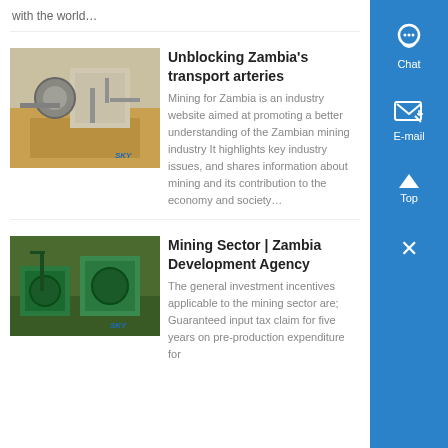with the world…
[Figure (photo): Mining equipment/machinery at a site, tan/desert environment, SKY branding]
Unblocking Zambia's transport arteries
Mining for Zambia is an industry website aimed at promoting a better understanding of the Zambian mining industry It highlights key industry issues, and shares information about mining and its contribution to the economy and society…
[Figure (photo): Green mining machinery/equipment at a site, SKY branding]
Mining Sector | Zambia Development Agency
The general investment incentives applicable to the mining sector are; Guaranteed input tax claim for five years on pre-production expenditure for